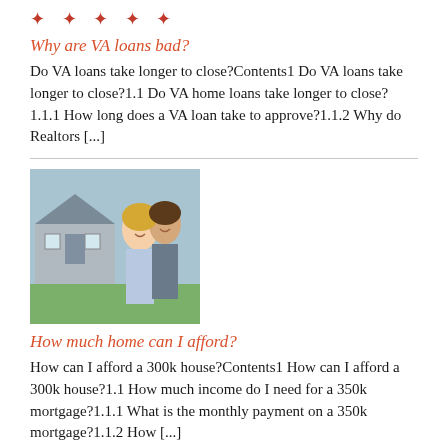[Figure (other): Decorative red dots/asterisks at top of page]
Why are VA loans bad?
Do VA loans take longer to close?Contents1 Do VA loans take longer to close?1.1 Do VA home loans take longer to close?1.1.1 How long does a VA loan take to approve?1.1.2 Why do Realtors [...]
[Figure (photo): A couple (man and woman) standing in front of a house, smiling]
How much home can I afford?
How can I afford a 300k house?Contents1 How can I afford a 300k house?1.1 How much income do I need for a 350k mortgage?1.1.1 What is the monthly payment on a 350k mortgage?1.1.2 How [...]